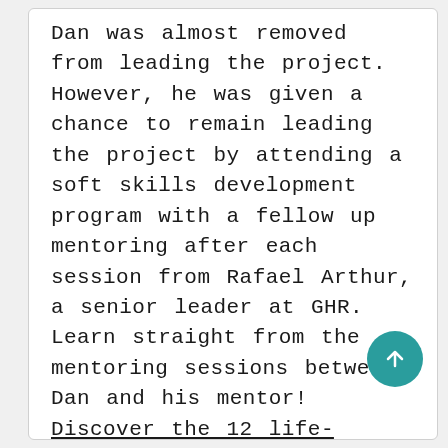Dan was almost removed from leading the project. However, he was given a chance to remain leading the project by attending a soft skills development program with a fellow up mentoring after each session from Rafael Arthur, a senior leader at GHR.
Learn straight from the mentoring sessions between Dan and his mentor!
Discover the 12 life-